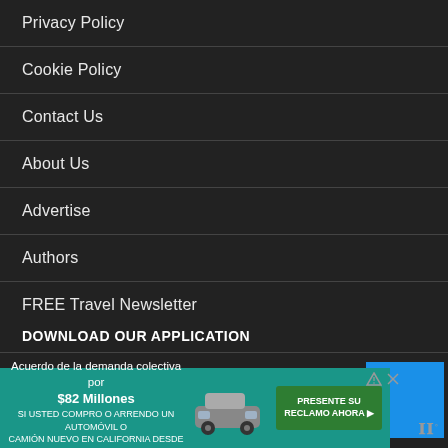Privacy Policy
Cookie Policy
Contact Us
About Us
Advertise
Authors
FREE Travel Newsletter
DOWNLOAD OUR APPLICATION
[Figure (other): Blue square app download button]
[Figure (other): Advertisement banner in Spanish: Acuerdo de la demanda colectiva por $82 Millones - SI USTED COMPRO O ARRENDO UN AUTOMOVIL O CAMION NUEVO EN CALIFORNIA DESDE 2001 A 2003]